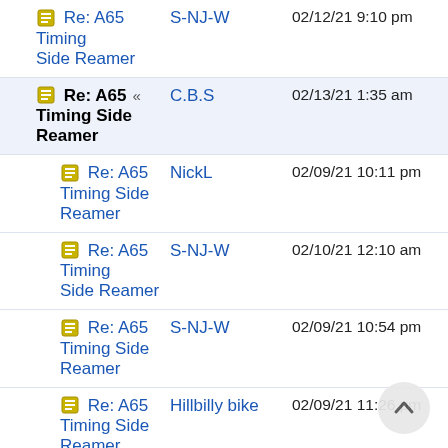Re: A65 Timing Side Reamer | S-NJ-W | 02/12/21 9:10 pm
Re: A65 Timing Side Reamer (highlighted, bold) | C.B.S | 02/13/21 1:35 am
Re: A65 Timing Side Reamer | NickL | 02/09/21 10:11 pm
Re: A65 Timing Side Reamer | S-NJ-W | 02/10/21 12:10 am
Re: A65 Timing Side Reamer | S-NJ-W | 02/09/21 10:54 pm
Re: A65 Timing Side Reamer | Hillbilly bike | 02/09/21 11:26 pm
Re: A65 Timing Side Reamer | Allan G | 02/10/21 7:43 am
Re: A65 Timing Side Reamer | Rick Dawsey | 02/12/21 5:16 pm
Re: A65 Timing Side Reamer | NickL | 02/13/21 2:55 am